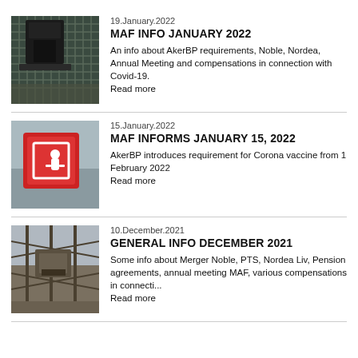[Figure (photo): Industrial equipment close-up, dark machinery on metal grating]
19.January.2022
MAF INFO JANUARY 2022
An info about AkerBP requirements, Noble, Nordea, Annual Meeting and compensations in connection with Covid-19.
Read more
[Figure (photo): Red sign with white hand/button icon on offshore platform]
15.January.2022
MAF INFORMS JANUARY 15, 2022
AkerBP introduces requirement for Corona vaccine from 1 February 2022
Read more
[Figure (photo): Offshore industrial structure with steel framework and equipment]
10.December.2021
GENERAL INFO DECEMBER 2021
Some info about Merger Noble, PTS, Nordea Liv, Pension agreements, annual meeting MAF, various compensations in connecti...
Read more